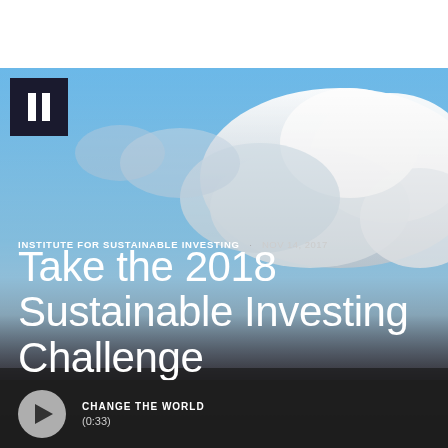[Figure (photo): Sky with white clouds over dark water horizon, used as hero background image]
INSTITUTE FOR SUSTAINABLE INVESTING · NOV 14, 2017
Take the 2018 Sustainable Investing Challenge
CHANGE THE WORLD (0:33)